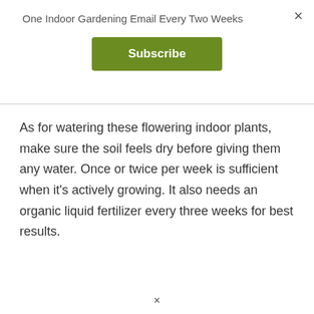×
One Indoor Gardening Email Every Two Weeks
Subscribe
As for watering these flowering indoor plants, make sure the soil feels dry before giving them any water. Once or twice per week is sufficient when it's actively growing. It also needs an organic liquid fertilizer every three weeks for best results.
×